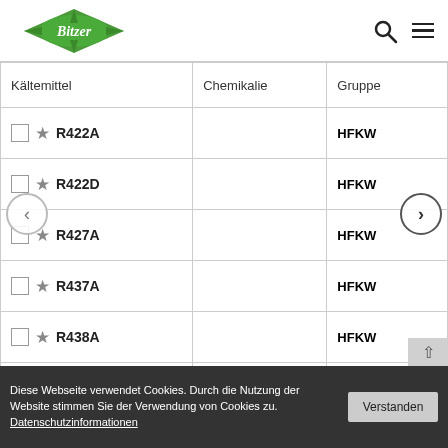Bitzer logo, search icon, menu icon
| Kältemittel | Chemikalie | Gruppe |
| --- | --- | --- |
| R422A |  | HFKW |
| R422D |  | HFKW |
| R427A |  | HFKW |
| R437A |  | HFKW |
| R438A |  | HFKW |
| R442A |  | HFKW |
| R444A |  | HFO/HFKW |
Diese Webseite verwendet Cookies. Durch die Nutzung der Website stimmen Sie der Verwendung von Cookies zu. Datenschutzinformationen
Verstanden